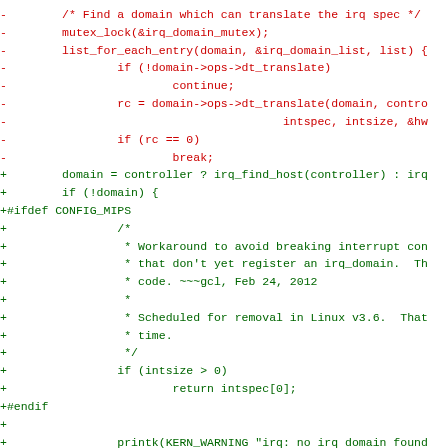[Figure (other): Code diff showing removed lines (red, prefixed with -) and added lines (green, prefixed with +) in a C source file related to IRQ domain handling in Linux kernel code.]